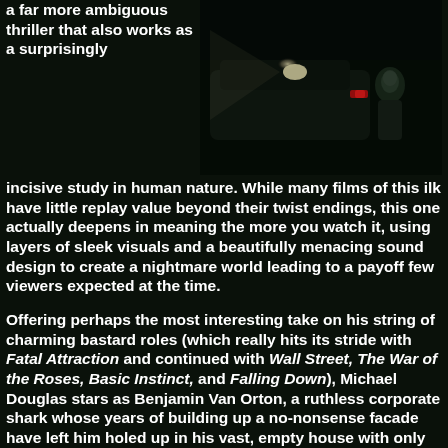a far more ambiguous thriller that also works as a surprisingly incisive study in human nature. While many films of this ilk have little replay value beyond their twist endings, this one actually deepens in meaning the more you watch it, using layers of sleek visuals and a beautifully menacing sound design to create a nightmare world leading to a payoff few viewers expected at the time.
[Figure (photo): Dark film still showing a person near a car at night with headlights and red lights visible]
Offering perhaps the most interesting take on his string of charming bastard roles (which really hits its stride with Fatal Attraction and continued with Wall Street, The War of the Roses, Basic Instinct, and Falling Down), Michael Douglas stars as Benjamin Van Orton, a ruthless corporate shark whose years of building up a no-nonsense facade have left him holed up in his vast, empty house with only his housekeeper (giallo queen Baker) for company. Benjamin reluctantly shows up for a birthday lunch with his brother, Nicky (Penn, in a role